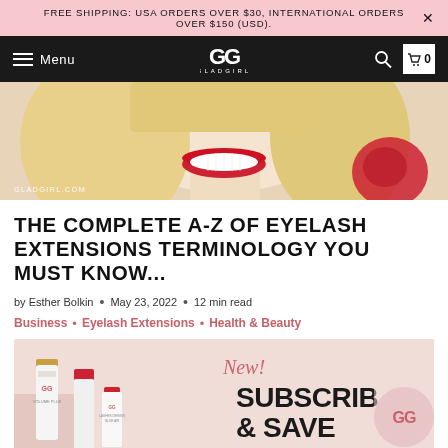FREE SHIPPING: USA ORDERS OVER $30, INTERNATIONAL ORDERS OVER $150 (USD).
[Figure (screenshot): GladGirl website navigation bar with hamburger menu, GG logo, search icon, and cart showing 0 items]
[Figure (photo): Close-up of a smiling woman with red lipstick and blonde hair, watermark GLADGIRL.COM]
THE COMPLETE A-Z OF EYELASH EXTENSIONS TERMINOLOGY YOU MUST KNOW...
by Esther Bolkin • May 23, 2022 • 12 min read
Business • Eyelash Extensions • Health & Beauty
[Figure (photo): GladGirl subscribe and save promotional banner with product bottles on pink background. Text reads 'New! SUBSCRIBE & SAVE' with GG logo circle.]